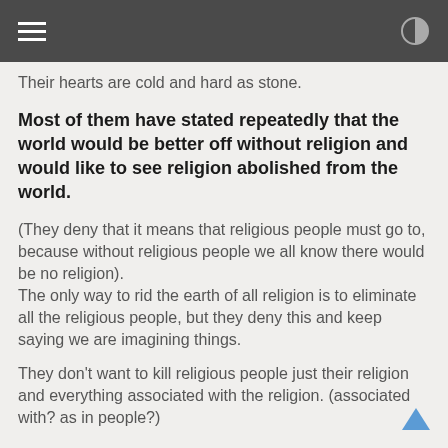Their hearts are cold and hard as stone.
Most of them have stated repeatedly that the world would be better off without religion and would like to see religion abolished from the world.
(They deny that it means that religious people must go to, because without religious people we all know there would be no religion). The only way to rid the earth of all religion is to eliminate all the religious people, but they deny this and keep saying we are imagining things.
They don't want to kill religious people just their religion and everything associated with the religion. (associated with? as in people?)